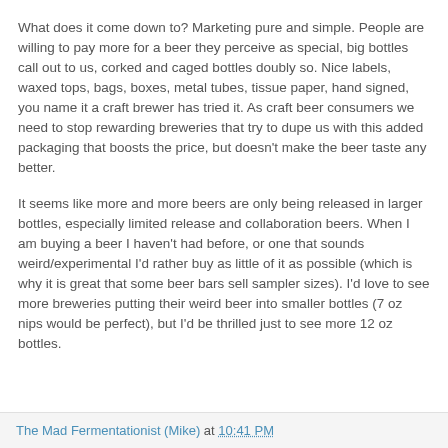What does it come down to? Marketing pure and simple. People are willing to pay more for a beer they perceive as special, big bottles call out to us, corked and caged bottles doubly so. Nice labels, waxed tops, bags, boxes, metal tubes, tissue paper, hand signed, you name it a craft brewer has tried it. As craft beer consumers we need to stop rewarding breweries that try to dupe us with this added packaging that boosts the price, but doesn't make the beer taste any better.
It seems like more and more beers are only being released in larger bottles, especially limited release and collaboration beers. When I am buying a beer I haven't had before, or one that sounds weird/experimental I'd rather buy as little of it as possible (which is why it is great that some beer bars sell sampler sizes). I'd love to see more breweries putting their weird beer into smaller bottles (7 oz nips would be perfect), but I'd be thrilled just to see more 12 oz bottles.
The Mad Fermentationist (Mike) at 10:41 PM